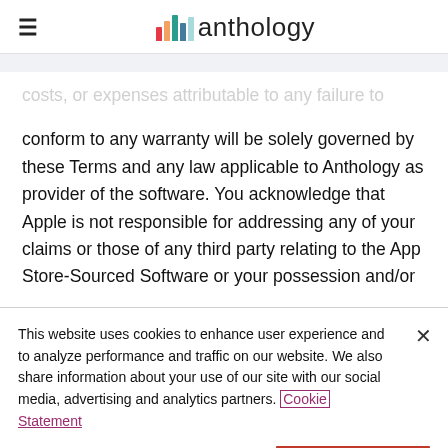anthology
costs, or expenses attributable to any failure to conform to any warranty will be solely governed by these Terms and any law applicable to Anthology as provider of the software. You acknowledge that Apple is not responsible for addressing any of your claims or those of any third party relating to the App Store-Sourced Software or your possession and/or
This website uses cookies to enhance user experience and to analyze performance and traffic on our website. We also share information about your use of our site with our social media, advertising and analytics partners. Cookie Statement
Do Not Sell My Personal Information
Accept Cookies